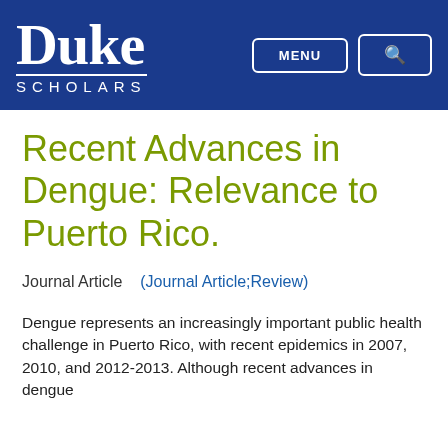[Figure (logo): Duke Scholars logo and navigation header with blue background, Duke wordmark in white serif font, SCHOLARS in white spaced caps, MENU button and search icon button]
Recent Advances in Dengue: Relevance to Puerto Rico.
Journal Article    (Journal Article;Review)
Dengue represents an increasingly important public health challenge in Puerto Rico, with recent epidemics in 2007, 2010, and 2012-2013. Although recent advances in dengue